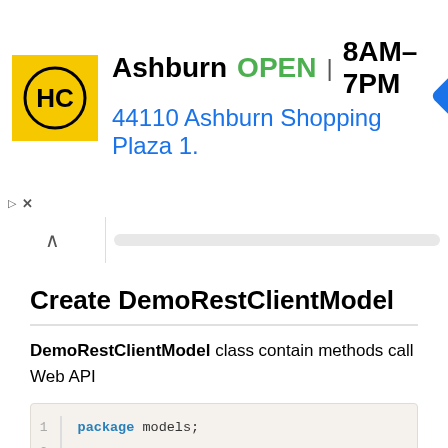[Figure (infographic): Advertisement banner for Ashburn HC (Haircut) store: logo, open status, hours 8AM-7PM, address 44110 Ashburn Shopping Plaza 1., navigation icon]
Create DemoRestClientModel
DemoRestClientModel class contain methods call Web API
[Figure (screenshot): Code block showing Java code: package models; imports for java.util.List, org.springframework.core.ParameterizedType, org.springframework.http.HttpMethod, org.springframework.http.ResponseEntity, org.springframework.web.client.RestTemplate, entities.Product; public class DemoRestClientModel {]